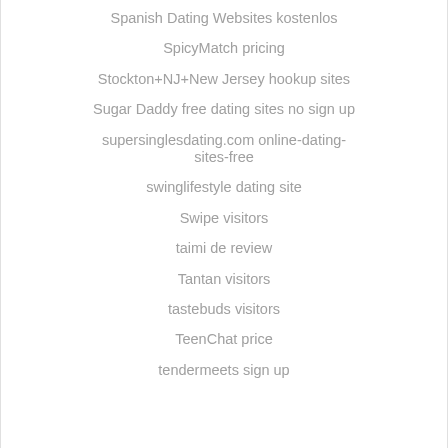Spanish Dating Websites kostenlos
SpicyMatch pricing
Stockton+NJ+New Jersey hookup sites
Sugar Daddy free dating sites no sign up
supersinglesdating.com online-dating-sites-free
swinglifestyle dating site
Swipe visitors
taimi de review
Tantan visitors
tastebuds visitors
TeenChat price
tendermeets sign up